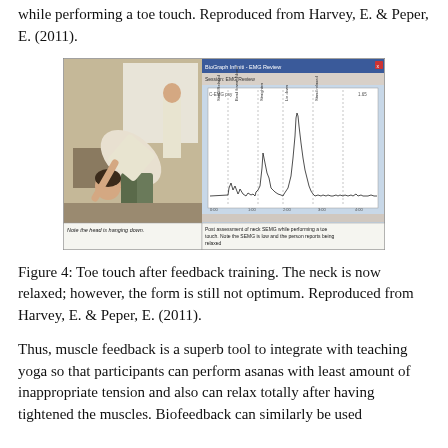while performing a toe touch. Reproduced from Harvey, E. & Peper, E. (2011).
[Figure (photo): Composite image showing left panel: a person bending forward doing a toe touch with head hanging down; right panel: a software screen showing post-assessment neck SEMG waveform while performing a toe touch, with annotation that SEMG is low and person reports being relaxed.]
Figure 4: Toe touch after feedback training. The neck is now relaxed; however, the form is still not optimum. Reproduced from Harvey, E. & Peper, E. (2011).
Thus, muscle feedback is a superb tool to integrate with teaching yoga so that participants can perform asanas with least amount of inappropriate tension and also can relax totally after having tightened the muscles. Biofeedback can similarly be used